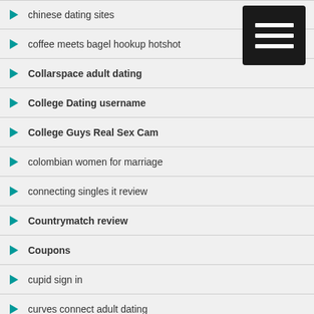chinese dating sites
coffee meets bagel hookup hotshot
Collarspace adult dating
College Dating username
College Guys Real Sex Cam
colombian women for marriage
connecting singles it review
Countrymatch review
Coupons
cupid sign in
curves connect adult dating
curvesconnect it review